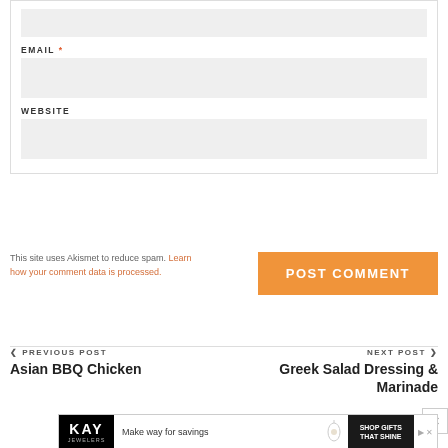EMAIL *
WEBSITE
This site uses Akismet to reduce spam. Learn how your comment data is processed.
POST COMMENT
❮ PREVIOUS POST
Asian BBQ Chicken
NEXT POST ❯
Greek Salad Dressing & Marinade
[Figure (screenshot): KAY Jewelers advertisement banner: black background with KAY logo, 'Make way for savings' text, necklace image, and 'SHOP GIFTS THAT SHINE' button]